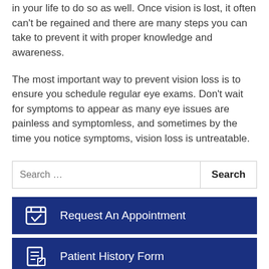in your life to do so as well. Once vision is lost, it often can't be regained and there are many steps you can take to prevent it with proper knowledge and awareness.
The most important way to prevent vision loss is to ensure you schedule regular eye exams. Don't wait for symptoms to appear as many eye issues are painless and symptomless, and sometimes by the time you notice symptoms, vision loss is untreatable.
[Figure (other): Search bar with text input placeholder 'Search ...' and a Search button]
Request An Appointment
Patient History Form
Order Contacts Online